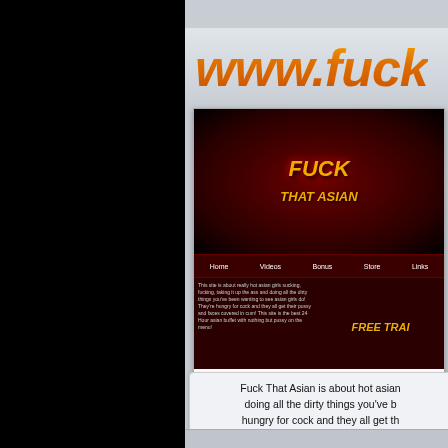[Figure (screenshot): Screenshot of adult website 'Fuck That Asian' showing the website header with logo, navigation bar, site description text, and a video section with title 'Office Sluts Hard At Work']
Fuck That Asian is about hot asian doing all the dirty things you've been hungry for cock and they all get the best 24 Hour asian buff